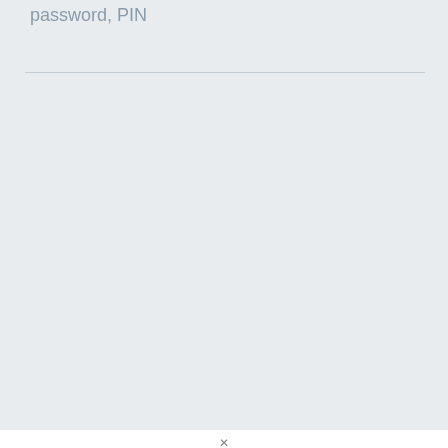password, PIN
[Figure (screenshot): Large gray empty area representing a blank/advertisement section of a webpage]
How to Unlock Redmi Note 11 Pro Mobile Phone? Forget Password or Pattern